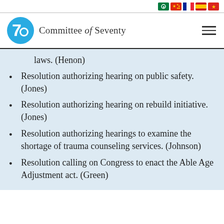Committee of Seventy
laws. (Henon)
Resolution authorizing hearing on public safety. (Jones)
Resolution authorizing hearing on rebuild initiative. (Jones)
Resolution authorizing hearings to examine the shortage of trauma counseling services. (Johnson)
Resolution calling on Congress to enact the Able Age Adjustment act. (Green)